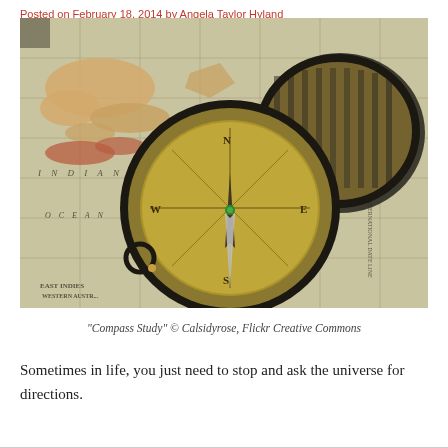Posted on February 18, 2014 by Angela Taylor Hyland
[Figure (photo): A vintage brass compass with an open lid resting on an antique map showing the Indian Ocean, East Indies, and Western Australia regions. The compass shows cardinal directions with a needle pointing south. The map has grid lines and place names in an old cartographic style.]
"Compass Study" © Calsidyrose, Flickr Creative Commons
Sometimes in life, you just need to stop and ask the universe for directions.